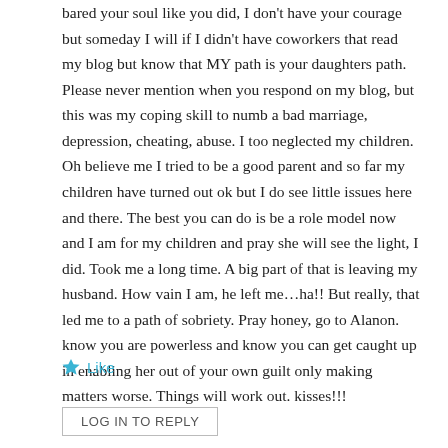bared your soul like you did, I don't have your courage but someday I will if I didn't have coworkers that read my blog but know that MY path is your daughters path. Please never mention when you respond on my blog, but this was my coping skill to numb a bad marriage, depression, cheating, abuse. I too neglected my children. Oh believe me I tried to be a good parent and so far my children have turned out ok but I do see little issues here and there. The best you can do is be a role model now and I am for my children and pray she will see the light, I did. Took me a long time. A big part of that is leaving my husband. How vain I am, he left me…ha!! But really, that led me to a path of sobriety. Pray honey, go to Alanon. know you are powerless and know you can get caught up in enabling her out of your own guilt only making matters worse. Things will work out. kisses!!!
★ Like
LOG IN TO REPLY